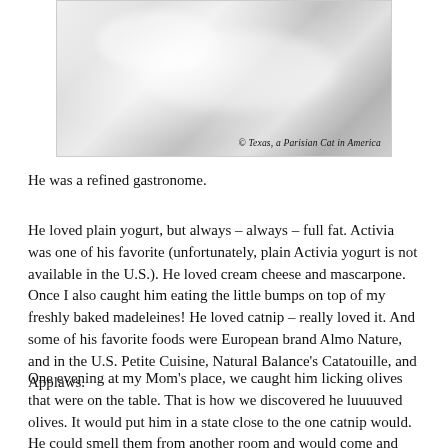[Figure (photo): Black and white photo of a fluffy white cat, viewed from above, with a watermark reading '© Texas, a Parisian Cat in America']
He was a refined gastronome.
He loved plain yogurt, but always – always – full fat. Activia was one of his favorite (unfortunately, plain Activia yogurt is not available in the U.S.). He loved cream cheese and mascarpone. Once I also caught him eating the little bumps on top of my freshly baked madeleines! He loved catnip – really loved it. And some of his favorite foods were European brand Almo Nature, and in the U.S. Petite Cuisine, Natural Balance's Catatouille, and Applaws.
One evening at my Mom's place, we caught him licking olives that were on the table. That is how we discovered he luuuuved olives. It would put him in a state close to the one catnip would. He could smell them from another room and would come and